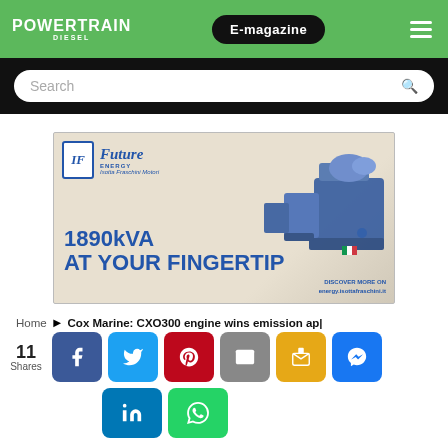POWERTRAIN DIESEL | E-magazine
[Figure (screenshot): Search bar with magnifying glass icon on dark background]
[Figure (photo): Advertisement banner for Isotta Fraschini Future Energy: 1890kVA AT YOUR FINGERTIP with large diesel engine image and logo]
Home ► Cox Marine: CXO300 engine wins emission ap|
11 Shares
[Figure (infographic): Social share buttons: Facebook, Twitter, Pinterest, Email, Google Message, Messenger, LinkedIn, WhatsApp]